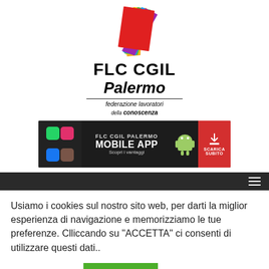[Figure (logo): FLC CGIL Palermo logo with colorful fanned paper sheets (orange, yellow, green, blue, purple, red) above text. Text reads: FLC CGIL Palermo, federazione lavoratori della conoscenza]
[Figure (screenshot): Dark banner advertisement: FLC CGIL PALERMO MOBILE APP - Scopri i vantaggi - SCARICA SUBITO, with Android robot mascot and app icons]
[Figure (other): Dark navigation bar with hamburger menu icon on the right]
Usiamo i cookies sul nostro sito web, per darti la miglior esperienza di navigazione e memorizziamo le tue preferenze. Clliccando su "ACCETTA" ci consenti di utilizzare questi dati..
Cookie settings   ACCETTA